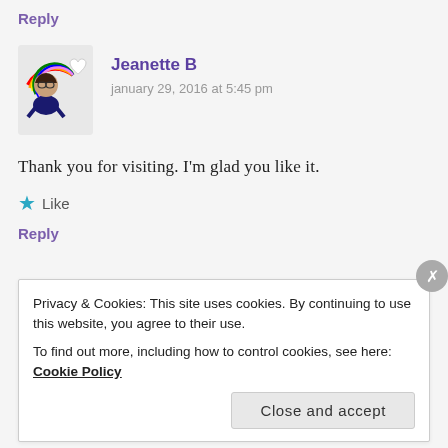Reply
[Figure (illustration): Avatar of Jeanette B — a cartoon bitmoji-style woman with glasses and a colorful rainbow heart graphic]
Jeanette B
january 29, 2016 at 5:45 pm
Thank you for visiting. I'm glad you like it.
Like
Reply
Privacy & Cookies: This site uses cookies. By continuing to use this website, you agree to their use.
To find out more, including how to control cookies, see here: Cookie Policy
Close and accept